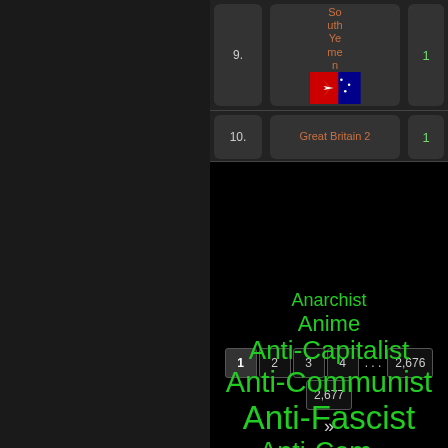| # | Name | Flag | Count |
| --- | --- | --- | --- |
| 9. | South Yemen | [flag] | 1 |
| 10. | Great Britain 2 |  | 1 |
1 2 3 4 ... 2,676 2,677 »
Tag Cloud
Anarchist
Anime
Anti-Capitalist
Anti-Communist
Anti-Fascist
Anti-Communist